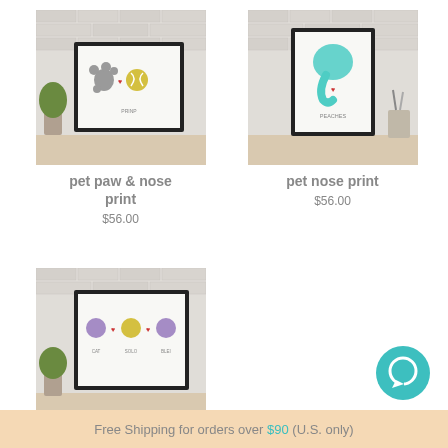[Figure (photo): Framed art print showing a pet paw print and nose print with the text PRINP, leaning against a white brick wall]
pet paw & nose print
$56.00
[Figure (photo): Framed art print showing a pet nose print with the text PEACHES, leaning against a white brick wall]
pet nose print
$56.00
[Figure (photo): Framed art print showing multiple pet paw and nose prints with pet names below, leaning against a white brick wall]
[Figure (other): Teal circular chat/messaging icon button]
Free Shipping for orders over $90 (U.S. only)